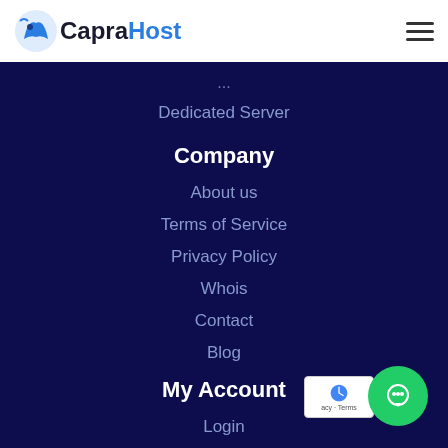CapraHost
Dedicated Server
Company
About us
Terms of Service
Privacy Policy
Whois
Contact
Blog
My Account
Login
Register